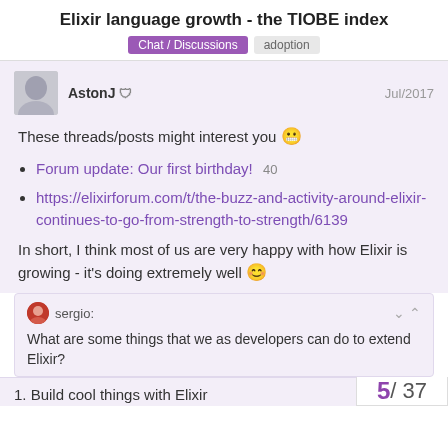Elixir language growth - the TIOBE index
Chat / Discussions  adoption
AstonJ  Jul/2017
These threads/posts might interest you 😬
Forum update: Our first birthday!  40
https://elixirforum.com/t/the-buzz-and-activity-around-elixir-continues-to-go-from-strength-to-strength/6139
In short, I think most of us are very happy with how Elixir is growing - it's doing extremely well 🙂
sergio:
What are some things that we as developers can do to extend Elixir?
1. Build cool things with Elixir
5 / 37